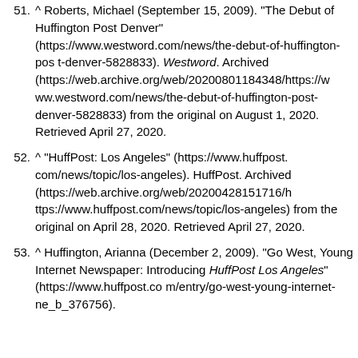51. ^ Roberts, Michael (September 15, 2009). "The Debut of Huffington Post Denver" (https://www.westword.com/news/the-debut-of-huffington-post-denver-5828833). Westword. Archived (https://web.archive.org/web/20200801184348/https://www.westword.com/news/the-debut-of-huffington-post-denver-5828833) from the original on August 1, 2020. Retrieved April 27, 2020.
52. ^ "HuffPost: Los Angeles" (https://www.huffpost.com/news/topic/los-angeles). HuffPost. Archived (https://web.archive.org/web/20200428151716/https://www.huffpost.com/news/topic/los-angeles) from the original on April 28, 2020. Retrieved April 27, 2020.
53. ^ Huffington, Arianna (December 2, 2009). "Go West, Young Internet Newspaper: Introducing HuffPost Los Angeles" (https://www.huffpost.com/entry/go-west-young-internet-ne_b_376756).